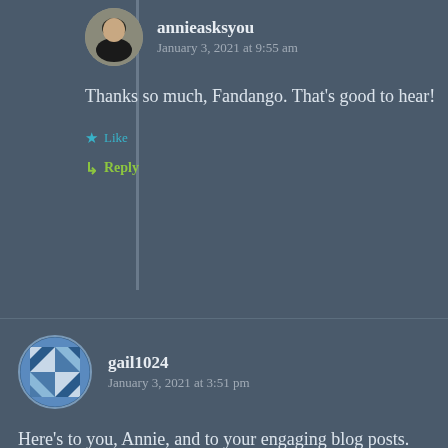annieasksyou
January 3, 2021 at 9:55 am
Thanks so much, Fandango. That’s good to hear!
Like
Reply
gail1024
January 3, 2021 at 3:51 pm
Here’s to you, Annie, and to your engaging blog posts.